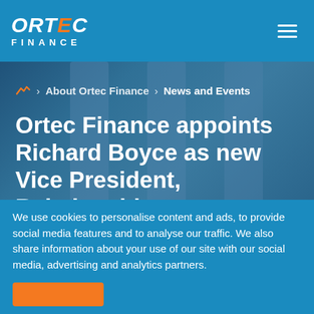ORTEC FINANCE
[Figure (screenshot): Ortec Finance website screenshot showing header with logo, hero image with blurred blue columns, breadcrumb navigation, page title, and cookie consent banner]
About Ortec Finance > News and Events
Ortec Finance appoints Richard Boyce as new Vice President, Relationship Management for Canada
We use cookies to personalise content and ads, to provide social media features and to analyse our traffic. We also share information about your use of our site with our social media, advertising and analytics partners.